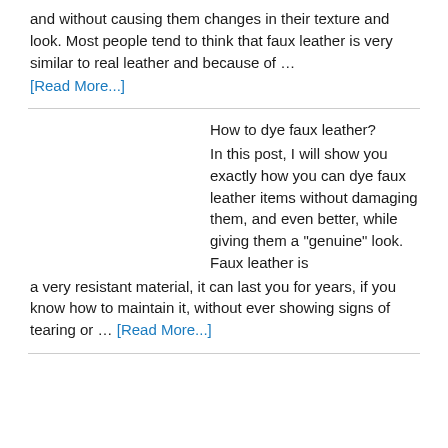and without causing them changes in their texture and look. Most people tend to think that faux leather is very similar to real leather and because of …
[Read More...]
How to dye faux leather?
In this post, I will show you exactly how you can dye faux leather items without damaging them, and even better, while giving them a "genuine" look. Faux leather is a very resistant material, it can last you for years, if you know how to maintain it, without ever showing signs of tearing or … [Read More...]